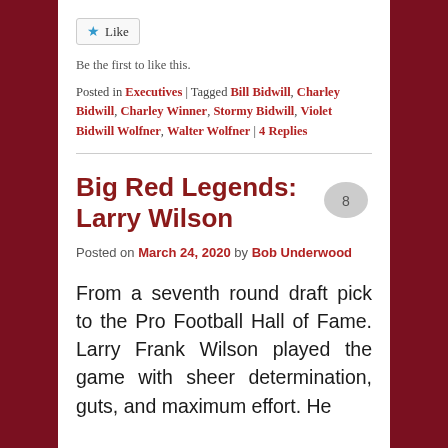Like
Be the first to like this.
Posted in Executives | Tagged Bill Bidwill, Charley Bidwill, Charley Winner, Stormy Bidwill, Violet Bidwill Wolfner, Walter Wolfner | 4 Replies
Big Red Legends: Larry Wilson
Posted on March 24, 2020 by Bob Underwood
From a seventh round draft pick to the Pro Football Hall of Fame. Larry Frank Wilson played the game with sheer determination, guts, and maximum effort. He